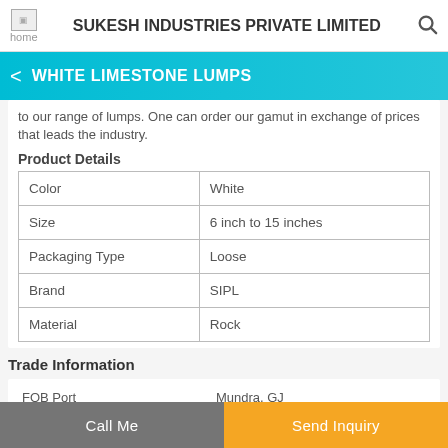SUKESH INDUSTRIES PRIVATE LIMITED
WHITE LIMESTONE LUMPS
to our range of lumps. One can order our gamut in exchange of prices that leads the industry.
Product Details
|  |  |
| --- | --- |
| Color | White |
| Size | 6 inch to 15 inches |
| Packaging Type | Loose |
| Brand | SIPL |
| Material | Rock |
Trade Information
|  |  |
| --- | --- |
| FOB Port | Mundra, GJ |
| Payment Terms | Cash Against Delivery |